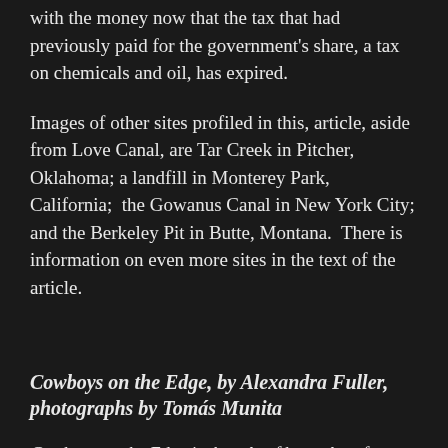with the money now that the tax that had previously paid for the government's share, a tax on chemicals and oil, has expired.
Images of other sites profiled in this, article, aside from Love Canal, are Tar Creek in Pitcher, Oklahoma; a landfill in Monterey Park, California;  the Gowanus Canal in New York City; and the Berkeley Pit in Butte, Montana.  There is information on even more sites in the text of the article.
Cowboys on the Edge, by Alexandra Fuller, photographs by Tomás Munita
Cowboys on the Edge is the tale of baguales of